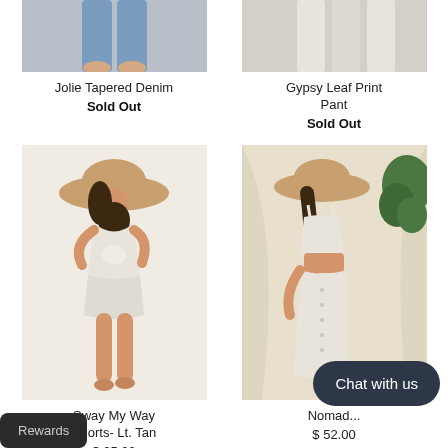[Figure (photo): Partial view of legs wearing tapered denim jeans, photographed from above on a light background]
Jolie Tapered Denim
Sold Out
[Figure (photo): Partial view of white/light pants legs on a light background]
Gypsy Leaf Print Pant
Sold Out
[Figure (photo): Woman wearing a wide brim hat, white cut-out top and light shorts, posed on a cream background]
Sway My Way Shorts- Lt. Tan
$ 25.00
[Figure (photo): Woman wearing a cropped top and white button-down skirt with a wide brim hat, posed against a cream draped backdrop with green plant]
Nomad...
$ 52.00